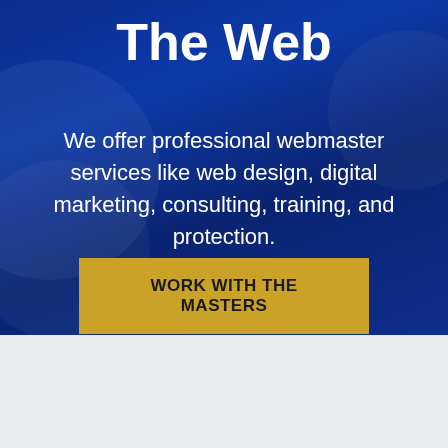The Web
We offer professional webmaster services like web design, digital marketing, consulting, training, and protection.
WORK WITH THE MASTERS